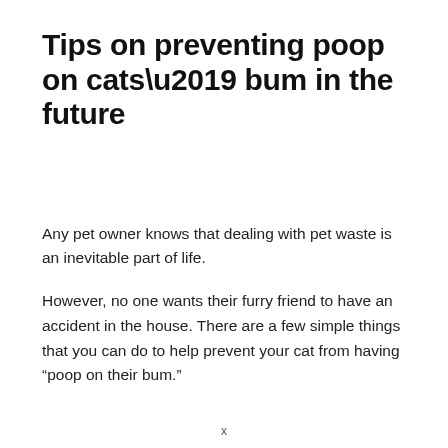Tips on preventing poop on cats’ bum in the future
Any pet owner knows that dealing with pet waste is an inevitable part of life.
However, no one wants their furry friend to have an accident in the house. There are a few simple things that you can do to help prevent your cat from having “poop on their bum.”
x